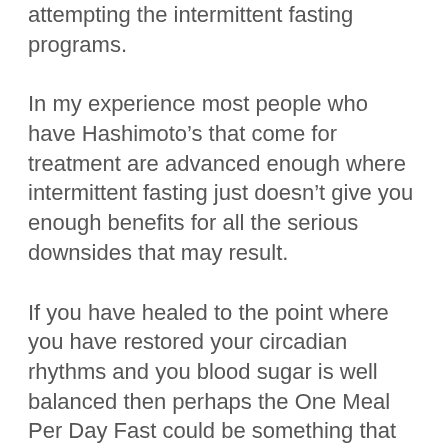attempting the intermittent fasting programs.
In my experience most people who have Hashimoto’s that come for treatment are advanced enough where intermittent fasting just doesn’t give you enough benefits for all the serious downsides that may result.
If you have healed to the point where you have restored your circadian rhythms and you blood sugar is well balanced then perhaps the One Meal Per Day Fast could be something that